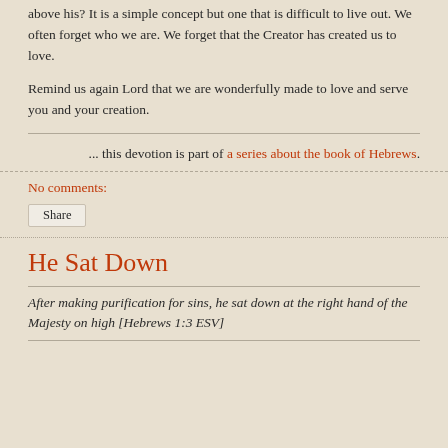above his? It is a simple concept but one that is difficult to live out. We often forget who we are. We forget that the Creator has created us to love.
Remind us again Lord that we are wonderfully made to love and serve you and your creation.
... this devotion is part of a series about the book of Hebrews.
No comments:
Share
He Sat Down
After making purification for sins, he sat down at the right hand of the Majesty on high [Hebrews 1:3 ESV]